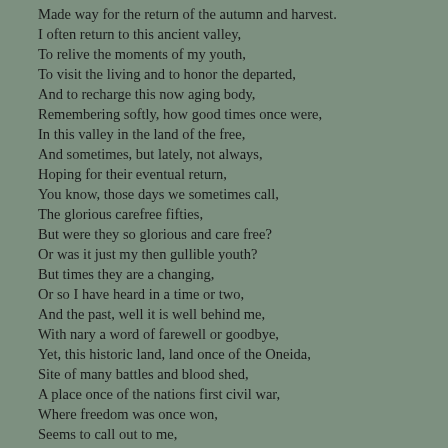Made way for the return of the autumn and harvest.

I often return to this ancient valley,
To relive the moments of my youth,
To visit the living and to honor the departed,
And to recharge this now aging body,
Remembering softly, how good times once were,
In this valley in the land of the free,
And sometimes, but lately, not always,
Hoping for their eventual return,
You know, those days we sometimes call,
The glorious carefree fifties,
But were they so glorious and care free?
Or was it just my then gullible youth?
But times they are a changing,
Or so I have heard in a time or two,
And the past, well it is well behind me,
With nary a word of farewell or goodbye,
Yet, this historic land, land once of the Oneida,
Site of many battles and blood shed,
A place once of the nations first civil war,
Where freedom was once won,
Seems to call out to me,
Forever beckoning, calling me to my roots.